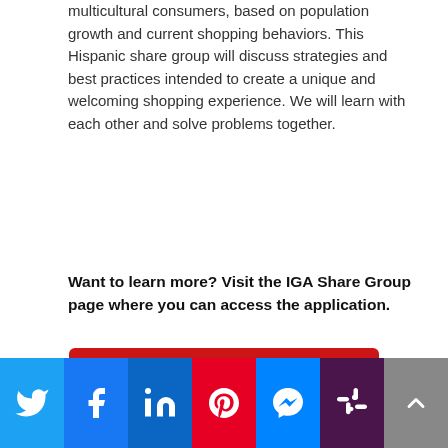multicultural consumers, based on population growth and current shopping behaviors. This Hispanic share group will discuss strategies and best practices intended to create a unique and welcoming shopping experience. We will learn with each other and solve problems together.
Want to learn more? Visit the IGA Share Group page where you can access the application.
[Figure (other): Red rounded button with white uppercase text 'LEARN MORE']
[Figure (other): Red rectangular button with white text showing a printer icon and 'PRINT PDF']
[Figure (other): Social sharing icon bar at bottom: Twitter (blue), Facebook (blue), LinkedIn (dark blue), Pinterest (red), Messenger (blue), Slack (purple), and a grey scroll-to-top arrow button]